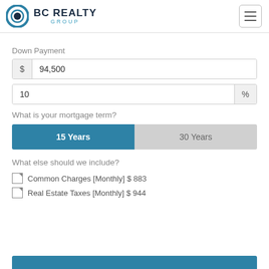[Figure (logo): BC Realty Group logo with circular icon in blue and dark navy]
Down Payment
$ 94,500
10 %
What is your mortgage term?
15 Years
30 Years
What else should we include?
Common Charges [Monthly] $ 883
Real Estate Taxes [Monthly] $ 944